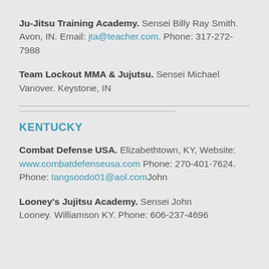Ju-Jitsu Training Academy. Sensei Billy Ray Smith. Avon, IN. Email: jta@teacher.com. Phone: 317-272-7988
Team Lockout MMA & Jujutsu. Sensei Michael Vanover. Keystone, IN
KENTUCKY
Combat Defense USA. Elizabethtown, KY, Website: www.combatdefenseusa.com Phone: 270-401-7624. Phone: tangsoodo01@aol.comJohn
Looney's Jujitsu Academy. Sensei John Looney. Williamson KY. Phone: 606-237-4696